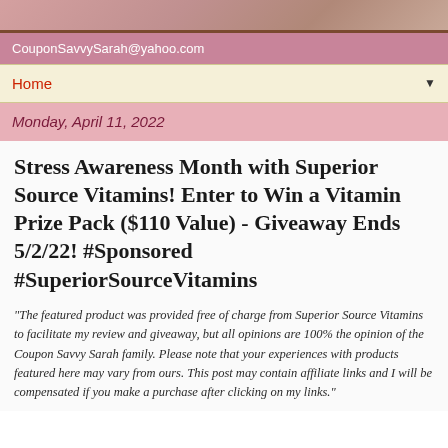[Figure (photo): Blog header image banner with decorative background]
CouponSavvySarah@yahoo.com
Home ▼
Monday, April 11, 2022
Stress Awareness Month with Superior Source Vitamins! Enter to Win a Vitamin Prize Pack ($110 Value) - Giveaway Ends 5/2/22! #Sponsored #SuperiorSourceVitamins
“The featured product was provided free of charge from Superior Source Vitamins to facilitate my review and giveaway, but all opinions are 100% the opinion of the Coupon Savvy Sarah family. Please note that your experiences with products featured here may vary from ours. This post may contain affiliate links and I will be compensated if you make a purchase after clicking on my links.”